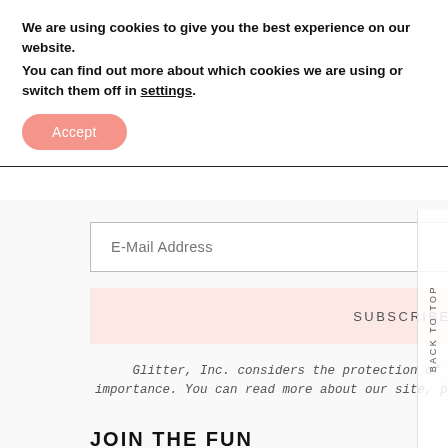We are using cookies to give you the best experience on our website.
You can find out more about which cookies we are using or switch them off in settings.
Accept
E-Mail Address
SUBSCRIBE!
Glitter, Inc. considers the protection of your personal data of the upmost importance. You can read more about our site, privacy, and disclosure policies here.
JOIN THE FUN
[Figure (photo): Photograph showing hands crafting, with overlay text 'CREATIVES WHO MOM' and title 'GLITTER MOMS']
BACK TO TOP